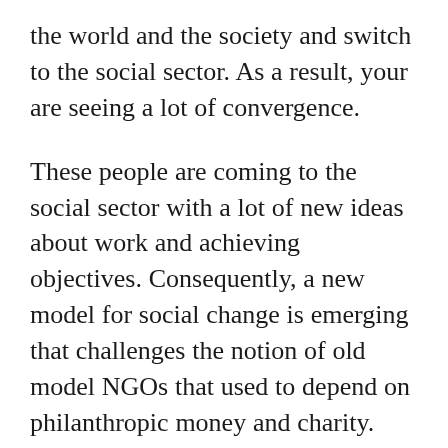the world and the society and switch to the social sector. As a result, your are seeing a lot of convergence.
These people are coming to the social sector with a lot of new ideas about work and achieving objectives. Consequently, a new model for social change is emerging that challenges the notion of old model NGOs that used to depend on philanthropic money and charity.
My take is that over the coming years the difference between social enterprise...